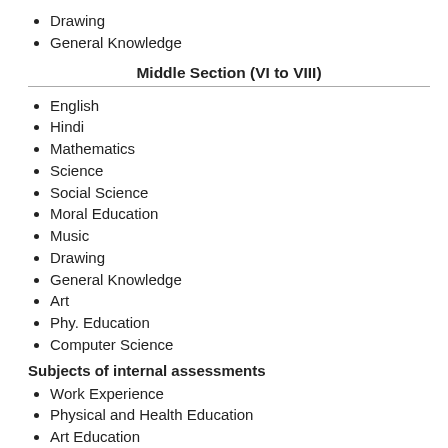Drawing
General Knowledge
Middle Section (VI to VIII)
English
Hindi
Mathematics
Science
Social Science
Moral Education
Music
Drawing
General Knowledge
Art
Phy. Education
Computer Science
Subjects of internal assessments
Work Experience
Physical and Health Education
Art Education